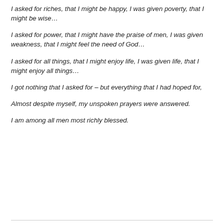I asked for riches, that I might be happy, I was given poverty, that I might be wise…
I asked for power, that I might have the praise of men, I was given weakness, that I might feel the need of God…
I asked for all things, that I might enjoy life, I was given life, that I might enjoy all things…
I got nothing that I asked for – but everything that I had hoped for,
Almost despite myself, my unspoken prayers were answered.
I am among all men most richly blessed.